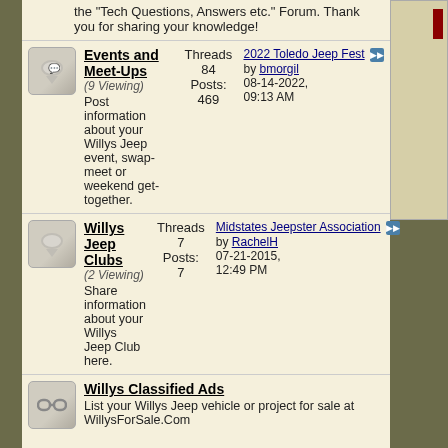the "Tech Questions, Answers etc." Forum. Thank you for sharing your knowledge!
Events and Meet-Ups (9 Viewing) Post information about your Willys Jeep event, swap-meet or weekend get-together. Threads: 84 Posts: 469 Last Post: 2022 Toledo Jeep Fest by bmorgil 08-14-2022, 09:13 AM
Willys Jeep Clubs (2 Viewing) Share information about your Willys Jeep Club here. Threads: 7 Posts: 7 Last Post: Midstates Jeepster Association by RachelH 07-21-2015, 12:49 PM
Willys Classified Ads List your Willys Jeep vehicle or project for sale at WillysForSale.Com
Willys Photos Threads / Posts Last Post
Gallery Show off your current project, completed restoration, or custom build.
Forum News and Help Section Threads / Posts Last Post